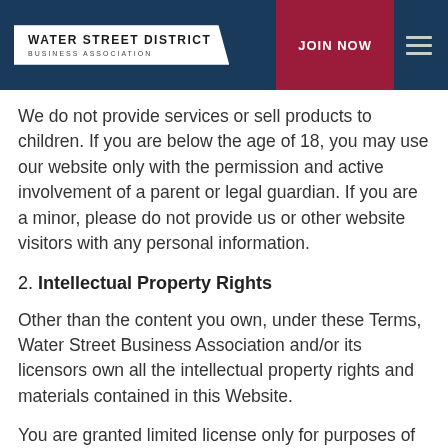WATER STREET DISTRICT BUSINESS ASSOCIATION | JOIN NOW
We do not provide services or sell products to children. If you are below the age of 18, you may use our website only with the permission and active involvement of a parent or legal guardian. If you are a minor, please do not provide us or other website visitors with any personal information.
2. Intellectual Property Rights
Other than the content you own, under these Terms, Water Street Business Association and/or its licensors own all the intellectual property rights and materials contained in this Website.
You are granted limited license only for purposes of viewing the material contained on this Website.